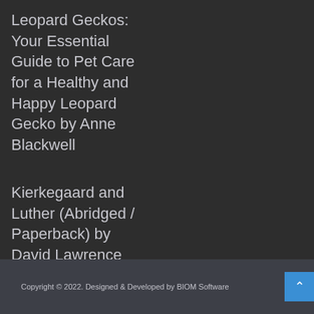Leopard Geckos: Your Essential Guide to Pet Care for a Healthy and Happy Leopard Gecko by Anne Blackwell
Kierkegaard and Luther (Abridged / Paperback) by David Lawrence Coe
Copyright © 2022. Designed & Developed by BIOM Software